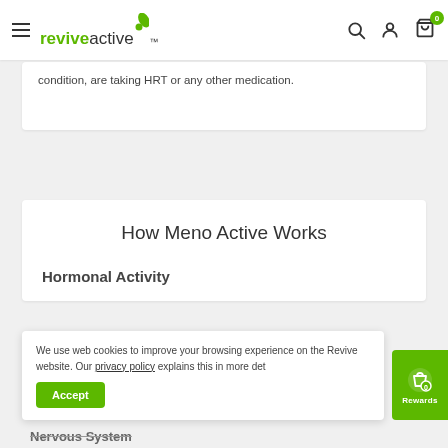revive active — navigation bar with hamburger menu, search, account, and cart icons
condition, are taking HRT or any other medication.
How Meno Active Works
Hormonal Activity
We use web cookies to improve your browsing experience on the Revive website. Our privacy policy explains this in more detail.
Accept
Nervous System